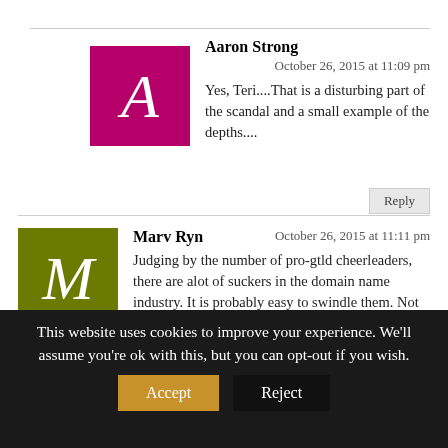Aaron Strong
October 26, 2015 at 11:09 pm
Yes, Teri....That is a disturbing part of the scandal and a small example of the depths....
Marv Ryn
October 26, 2015 at 11:11 pm
Judging by the number of pro-gtld cheerleaders, there are alot of suckers in the domain name industry. It is probably easy to swindle them. Not Adam’s fault if they were too stupid to see it coming jsut as they are blind to the pending gtld crash and burn.
This website uses cookies to improve your experience. We'll assume you're ok with this, but you can opt-out if you wish.